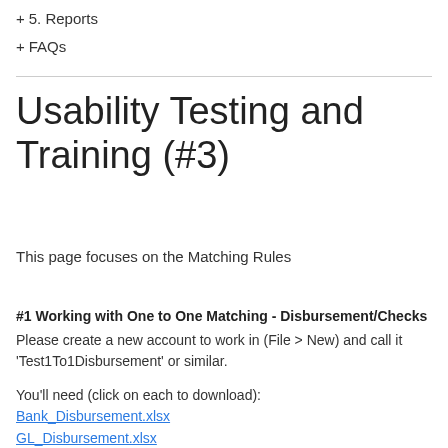+ 5. Reports
+ FAQs
Usability Testing and Training (#3)
This page focuses on the Matching Rules
#1 Working with One to One Matching - Disbursement/Checks
Please create a new account to work in (File > New) and call it 'Test1To1Disbursement' or similar.
You'll need (click on each to download):
Bank_Disbursement.xlsx
GL_Disbursement.xlsx